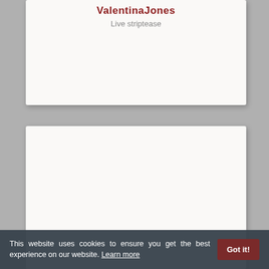ValentinaJones
Live striptease
[Figure (other): Empty white card/content area]
This website uses cookies to ensure you get the best experience on our website. Learn more